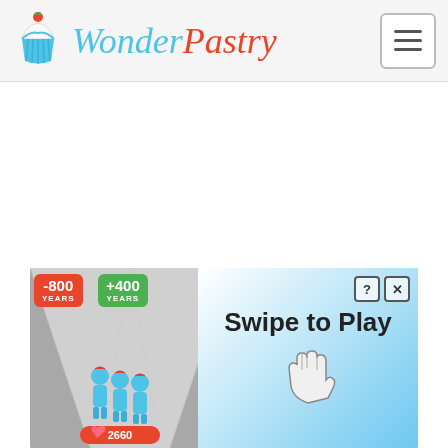[Figure (logo): WonderPastry website header with cupcake icon and stylized logo text in cyan (Wonder) and red (Pastry), plus a hamburger menu button on the right]
[Figure (screenshot): Advertisement banner showing a mobile game screenshot on the left with score badges '-800 YEARS' and '+400 YEARS', blue character figures running in a corridor, a heart score of 2660, and 'Swipe to Play' text with a hand cursor icon on the right blue gradient background. Top-right has a ? and X close button.]